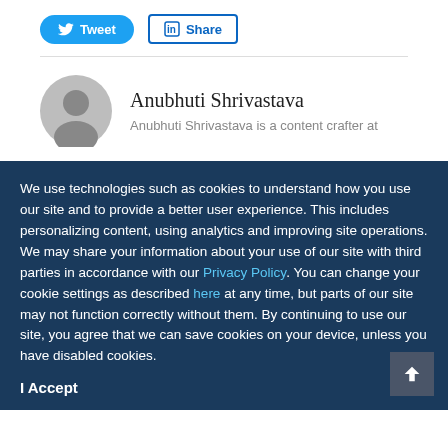[Figure (other): Social sharing buttons: Tweet (Twitter) and Share (LinkedIn)]
Anubhuti Shrivastava
Anubhuti Shrivastava is a content crafter at
We use technologies such as cookies to understand how you use our site and to provide a better user experience. This includes personalizing content, using analytics and improving site operations. We may share your information about your use of our site with third parties in accordance with our Privacy Policy. You can change your cookie settings as described here at any time, but parts of our site may not function correctly without them. By continuing to use our site, you agree that we can save cookies on your device, unless you have disabled cookies.
I Accept